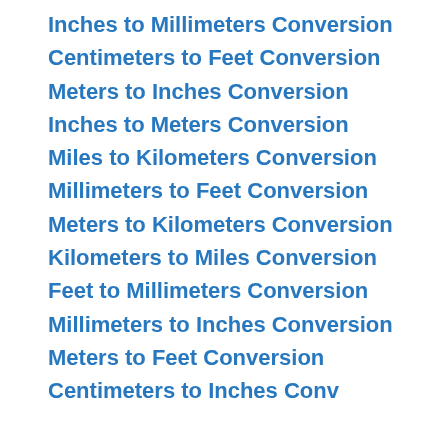Inches to Millimeters Conversion
Centimeters to Feet Conversion
Meters to Inches Conversion
Inches to Meters Conversion
Miles to Kilometers Conversion
Millimeters to Feet Conversion
Meters to Kilometers Conversion
Kilometers to Miles Conversion
Feet to Millimeters Conversion
Millimeters to Inches Conversion
Meters to Feet Conversion
Centimeters to Inches Conversion